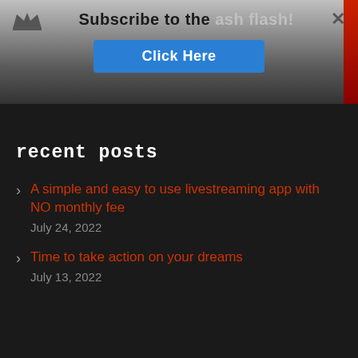Subscribe to the ash flash! Click Here
recent posts
A simple and easy to use livestreaming app with NO monthly fee
July 24, 2022
Time to take action on your dreams
July 13, 2022